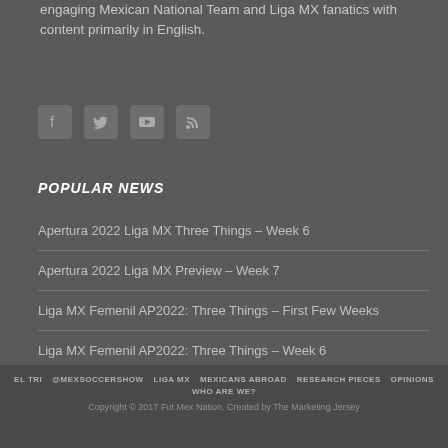engaging Mexican National Team and Liga MX fanatics with content primarily in English.
[Figure (illustration): Four social media icons: Facebook, Twitter, YouTube, RSS feed]
POPULAR NEWS
Apertura 2022 Liga MX Three Things – Week 6
Apertura 2022 Liga MX Preview – Week 7
Liga MX Femenil AP2022: Three Things – First Few Weeks
Liga MX Femenil AP2022: Three Things – Week 6
Apertura 2022 Liga MX Three Things – Week 7
EL TRI  @MEXSOCCERSHOW  LIGA MX  MEXICANS ABROAD  RESEARCH PIECES  OPINIONS  WHO ARE WE?  Copyright © 2017 Fut Mex Nation. Created by The Marketing Jersey